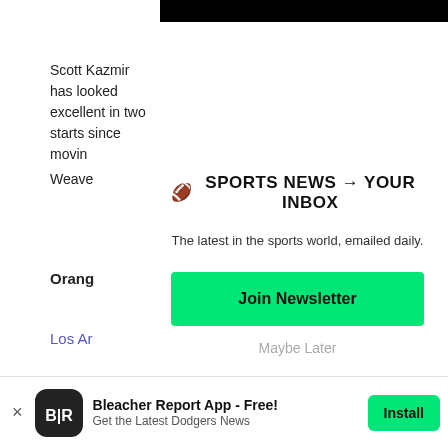[Figure (screenshot): Black navigation bar at top of page]
Scott Kazmir has looked excellent in two starts since moving
Weave
[Figure (infographic): Newsletter signup modal overlay with title '🏈 SPORTS NEWS → YOUR INBOX', subtitle 'The latest in the sports world, emailed daily.', green 'Join Newsletter' button, and 'Maybe Later' link]
Orang
Los Ar
The Do just tw with th
[Figure (infographic): Bleacher Report app install banner at bottom: BR logo, 'Bleacher Report App - Free!', 'Get the Latest Dodgers News', Install button]